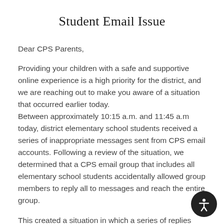Student Email Issue
Dear CPS Parents,
Providing your children with a safe and supportive online experience is a high priority for the district, and we are reaching out to make you aware of a situation that occurred earlier today.
Between approximately 10:15 a.m. and 11:45 a.m today, district elementary school students received a series of inappropriate messages sent from CPS email accounts. Following a review of the situation, we determined that a CPS email group that includes all elementary school students accidentally allowed group members to reply all to messages and reach the entire group.
This created a situation in which a series of replies earlier today were sent and distributed to all elementary students. We have corrected this issue to ensure additional messages cannot be